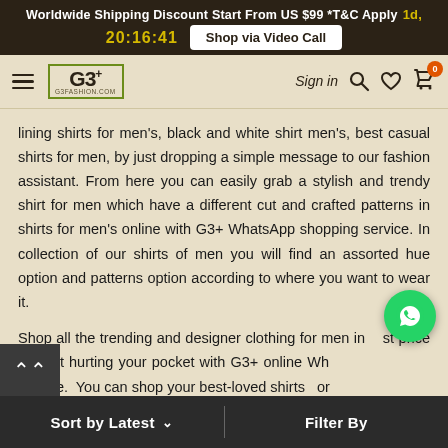Worldwide Shipping Discount Start From US $99 *T&C Apply  1d, 20:16:41  Shop via Video Call
[Figure (screenshot): G3Fashion.com website navigation bar with hamburger menu, G3+ logo, Sign in, search, wishlist, and cart (0) icons]
lining shirts for men's, black and white shirt men's, best casual shirts for men, by just dropping a simple message to our fashion assistant. From here you can easily grab a stylish and trendy shirt for men which have a different cut and crafted patterns in shirts for men's online with G3+ WhatsApp shopping service. In collection of our shirts of men you will find an assorted hue option and patterns option according to where you want to wear it.
Shop all the trending and designer clothing for men in best price without hurting your pocket with G3+ online Wh…ce. You can shop your best-loved shirts for
Sort by Latest ⌃   |   Filter By